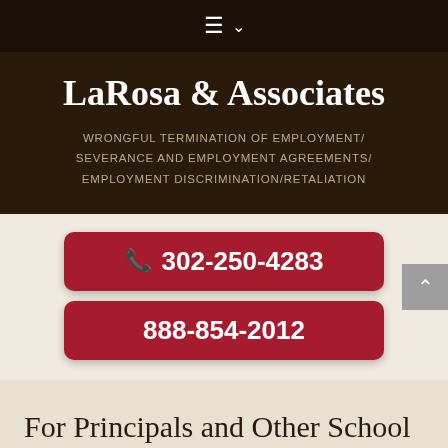≡ ∨
LaRosa & Associates
WRONGFUL TERMINATION OF EMPLOYMENT/ SEVERANCE AND EMPLOYMENT AGREEMENTS/ EMPLOYMENT DISCRIMINATION/RETALIATION
302-250-4283
888-854-2012
For Principals and Other School Administrators